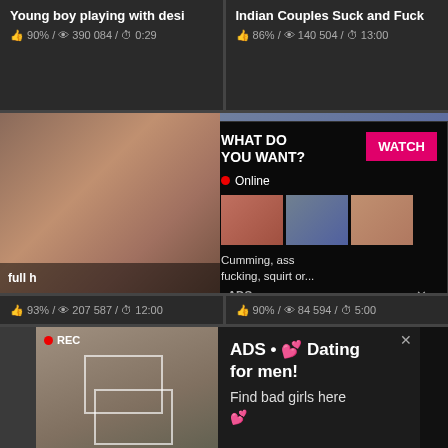Young boy playing with desi
👍 90% / 👁 390 084 / ⏱ 0:29
Indian Couples Suck and Fuck
👍 86% / 👁 140 504 / ⏱ 13:00
[Figure (screenshot): Thumbnail of video on left side of middle row]
[Figure (screenshot): Popup ad overlay: WHAT DO YOU WANT? WATCH button, Online status, three small thumbnails, text: Cumming, ass fucking, squirt or... ADS X]
full h...
👍 93% / 👁 207 587 / ⏱ 12:00
👍 90% / 👁 84 594 / ⏱ 5:00
[Figure (screenshot): Bottom left video thumbnail with REC badge and focus squares]
[Figure (screenshot): Bottom right ad: ADS • 💕 Dating for men! Find bad girls here 💕]
ADS • 💕 Dating for men!
Find bad girls here 💕